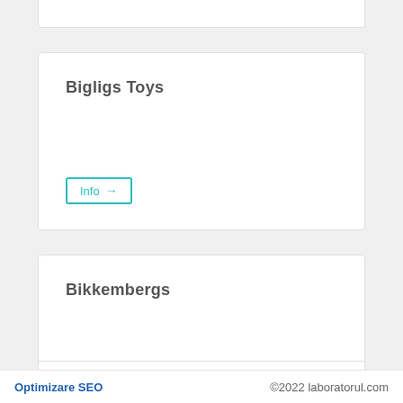Bigligs Toys
Info →
Bikkembergs
Info →
Optimizare SEO   ©2022 laboratorul.com